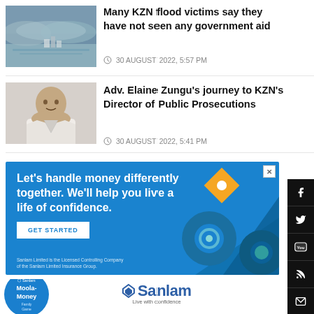[Figure (photo): Aerial or landscape photo of KZN flood scene showing flooded area and buildings]
Many KZN flood victims say they have not seen any government aid
30 AUGUST 2022, 5:57 PM
[Figure (photo): Portrait photo of Adv. Elaine Zungu, a woman in a white jacket]
Adv. Elaine Zungu's journey to KZN's Director of Public Prosecutions
30 AUGUST 2022, 5:41 PM
[Figure (illustration): Sanlam advertisement: 'Let's handle money differently together. We'll help you live a life of confidence.' with GET STARTED button and decorative circular/diamond shapes on blue background. Fine print: Sanlam Limited is the Licensed Controlling Company of the Sanlam Limited Insurance Group.]
[Figure (logo): Sanlam Moola-Money Family Game badge and Sanlam logo with tagline 'Live with confidence']